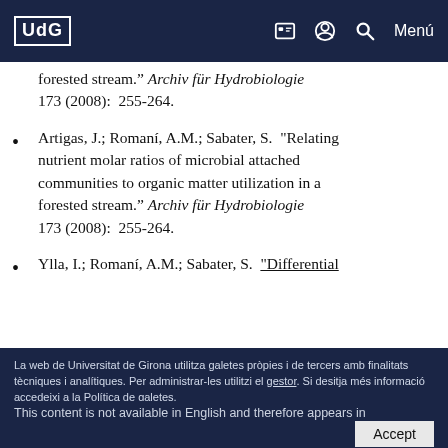UdG  Menú
forested stream." Archiv für Hydrobiologie 173 (2008):  255-264.
Artigas, J.; Romaní, A.M.; Sabater, S.  "Relating nutrient molar ratios of microbial attached communities to organic matter utilization in a forested stream." Archiv für Hydrobiologie 173 (2008):  255-264.
Ylla, I.; Romaní, A.M.; Sabater, S.  "Differential
La web de Universitat de Girona utilitza galetes pròpies i de tercers amb finalitats tècniques i analítiques. Per administrar-les utilitzi el gestor. Si desitja més informació accedeixi a la Política de galetes.
This content is not available in English and therefore appears in